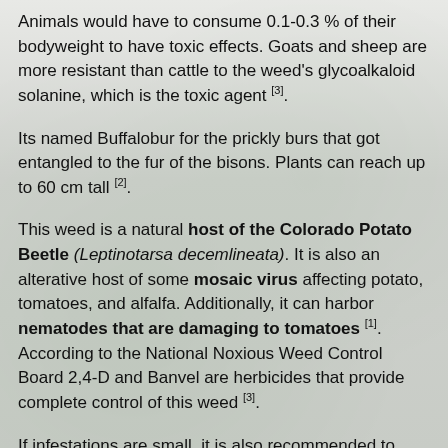Animals would have to consume 0.1-0.3 % of their bodyweight to have toxic effects. Goats and sheep are more resistant than cattle to the weed's glycoalkaloid solanine, which is the toxic agent [3].
Its named Buffalobur for the prickly burs that got entangled to the fur of the bisons. Plants can reach up to 60 cm tall [2].
This weed is a natural host of the Colorado Potato Beetle (Leptinotarsa decemlineata). It is also an alterative host of some mosaic virus affecting potato, tomatoes, and alfalfa. Additionally, it can harbor nematodes that are damaging to tomatoes [1]. According to the National Noxious Weed Control Board 2,4-D and Banvel are herbicides that provide complete control of this weed [3].
If infestations are small, it is also recommended to